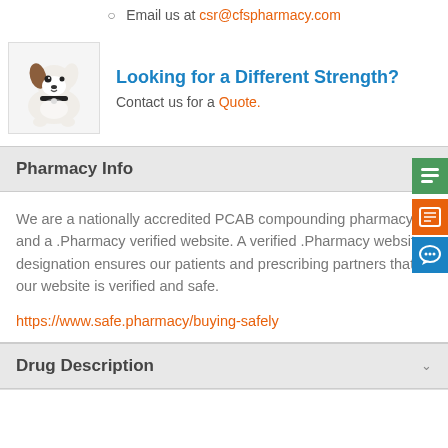Email us at csr@cfspharmacy.com
Looking for a Different Strength?
Contact us for a Quote.
Pharmacy Info
We are a nationally accredited PCAB compounding pharmacy and a .Pharmacy verified website. A verified .Pharmacy website designation ensures our patients and prescribing partners that our website is verified and safe.
https://www.safe.pharmacy/buying-safely
Drug Description